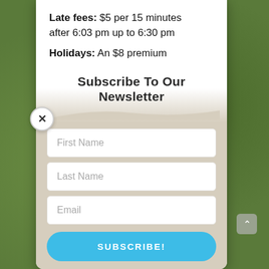Late fees: $5 per 15 minutes after 6:03 pm up to 6:30 pm
Holidays: An $8 premium
Subscribe To Our Newsletter
[Figure (screenshot): Newsletter subscription form with First Name, Last Name, Email fields and a SUBSCRIBE! button on a beige background]
First Name
Last Name
Email
SUBSCRIBE!